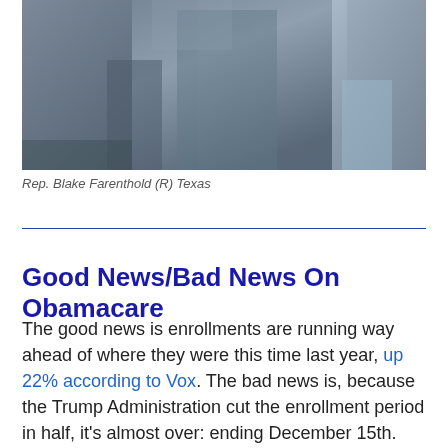[Figure (photo): Photograph of Rep. Blake Farenthold (R) Texas with other people]
Rep. Blake Farenthold (R) Texas
Good News/Bad News On Obamacare
The good news is enrollments are running way ahead of where they were this time last year, up 22% according to Vox. The bad news is, because the Trump Administration cut the enrollment period in half, it's almost over: ending December 15th. That's also likely to force some people into deciding whether it's more